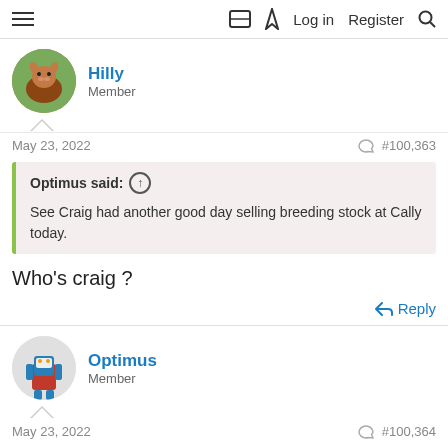≡  □ ⚡ Log in  Register  🔍
Hilly
Member
May 23, 2022  #100,363
Optimus said: ↑
See Craig had another good day selling breeding stock at Cally today.
Who's craig ?
Reply
Optimus
Member
May 23, 2022  #100,364
Hilly said: ↑